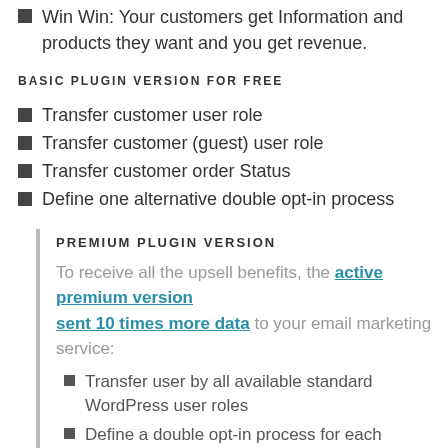Win Win: Your customers get Information and products they want and you get revenue.
BASIC PLUGIN VERSION FOR FREE
Transfer customer user role
Transfer customer (guest) user role
Transfer customer order Status
Define one alternative double opt-in process
PREMIUM PLUGIN VERSION
To receive all the upsell benefits, the active premium version sent 10 times more data to your email marketing service:
Transfer user by all available standard WordPress user roles
Define a double opt-in process for each